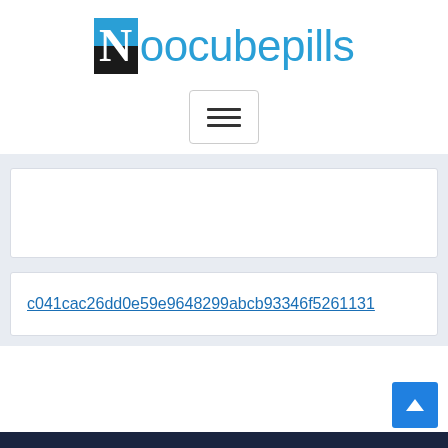[Figure (logo): Noocubepills website logo with stylized N in a blue/black box followed by 'oocubepills' in blue text]
[Figure (other): Hamburger menu button with three horizontal lines inside a rounded rectangle border]
c041cac26dd0e59e9648299abcb93346f5261131